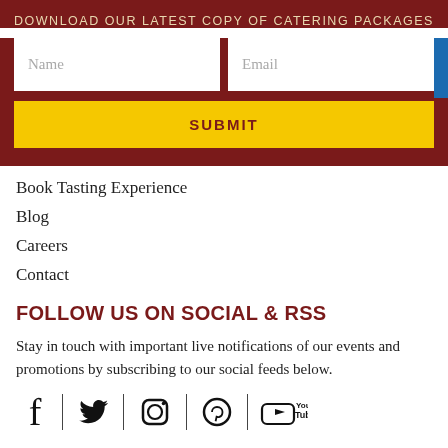DOWNLOAD OUR LATEST COPY OF CATERING PACKAGES
[Figure (screenshot): Web form with Name and Email fields and a yellow SUBMIT button on a dark red background]
Book Tasting Experience
Blog
Careers
Contact
FOLLOW US ON SOCIAL & RSS
Stay in touch with important live notifications of our events and promotions by subscribing to our social feeds below.
[Figure (infographic): Social media icons: Facebook, Twitter, Instagram, Pinterest, YouTube separated by vertical dividers]
SUBSCRIBE TO OUR NEWSLETTER
Get instant access below to our events checklist guide